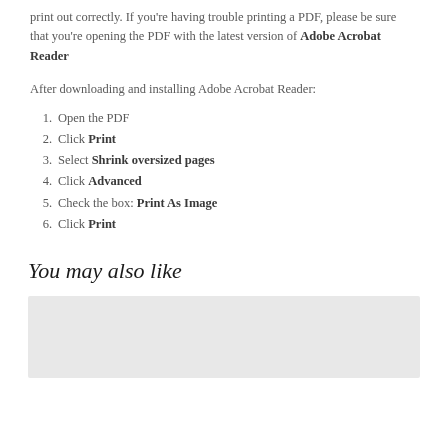print out correctly. If you're having trouble printing a PDF, please be sure that you're opening the PDF with the latest version of Adobe Acrobat Reader
After downloading and installing Adobe Acrobat Reader:
1. Open the PDF
2. Click Print
3. Select Shrink oversized pages
4. Click Advanced
5. Check the box: Print As Image
6. Click Print
You may also like
[Figure (other): Gray placeholder image area]